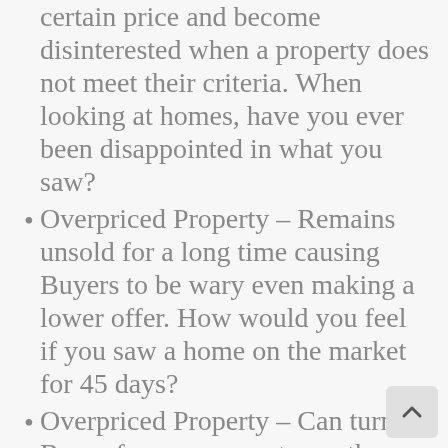certain price and become disinterested when a property does not meet their criteria. When looking at homes, have you ever been disappointed in what you saw?
Overpriced Property – Remains unsold for a long time causing Buyers to be wary even making a lower offer. How would you feel if you saw a home on the market for 45 days?
Overpriced Property – Can turn a Buyer from one area to another. Someone qualified to buy in your location may disqualify themselves if confronted with even one or two overpriced homes. A qualified Buyer may never see an overpriced home because they feel they can't afford it.